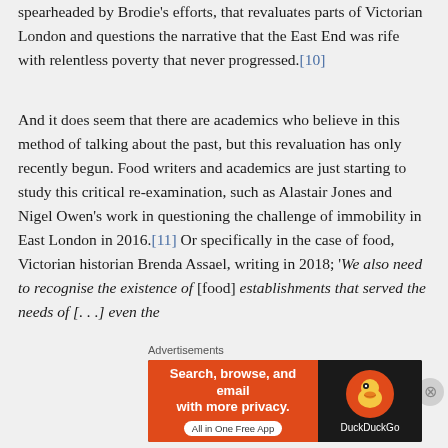spearheaded by Brodie's efforts, that revaluates parts of Victorian London and questions the narrative that the East End was rife with relentless poverty that never progressed.[10]
And it does seem that there are academics who believe in this method of talking about the past, but this revaluation has only recently begun. Food writers and academics are just starting to study this critical re-examination, such as Alastair Jones and Nigel Owen's work in questioning the challenge of immobility in East London in 2016.[11] Or specifically in the case of food, Victorian historian Brenda Assael, writing in 2018; 'We also need to recognise the existence of [food] establishments that served the needs of [. . .] even the
Advertisements
[Figure (other): DuckDuckGo advertisement banner: orange left panel with text 'Search, browse, and email with more privacy. All in One Free App' and dark right panel with DuckDuckGo duck logo.]